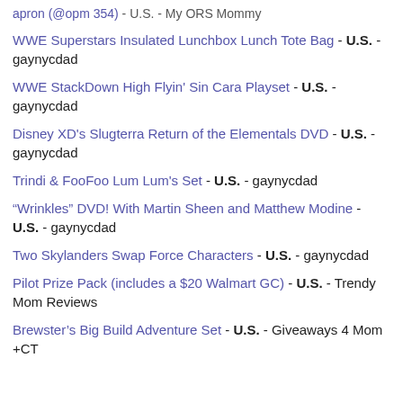apron (@opm 354) - U.S. - My ORS Mommy
WWE Superstars Insulated Lunchbox Lunch Tote Bag - U.S. - gaynycdad
WWE StackDown High Flyin' Sin Cara Playset - U.S. - gaynycdad
Disney XD's Slugterra Return of the Elementals DVD - U.S. - gaynycdad
Trindi & FooFoo Lum Lum's Set - U.S. - gaynycdad
“Wrinkles” DVD! With Martin Sheen and Matthew Modine - U.S. - gaynycdad
Two Skylanders Swap Force Characters - U.S. - gaynycdad
Pilot Prize Pack (includes a $20 Walmart GC) - U.S. - Trendy Mom Reviews
Brewster’s Big Build Adventure Set - U.S. - Giveaways 4 Mom +CT